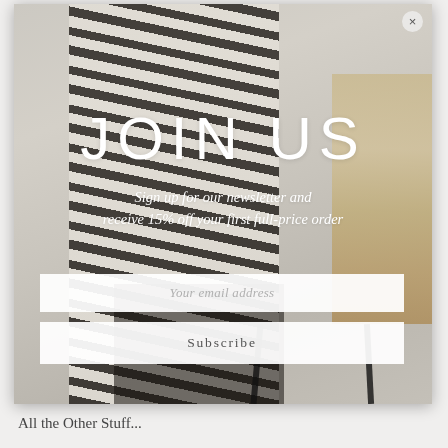[Figure (photo): Modal popup overlay showing a woman wearing a black and white zebra-print outfit sitting in a rattan chair against a gray background]
JOIN US
Sign up for our newsletter and receive 15% off your first full-price order
Your email address
Subscribe
All the Other Stuff...